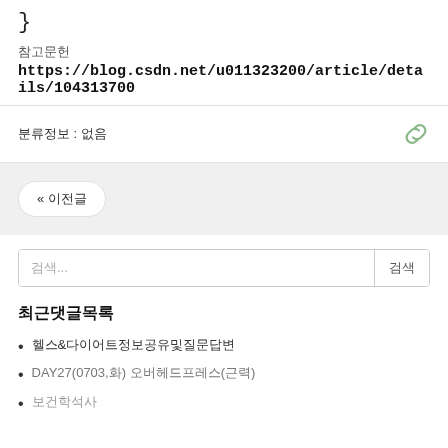}
참고문헌
https://blog.csdn.net/u011323200/article/details/104313700
분류정보 : 없음
« 이전글
검색...
검색
최근댓글목록
헬스&다이어트정보공유및질문답변
DAY27(0703,화) 오버헤드프레스(근력)
보건학석사